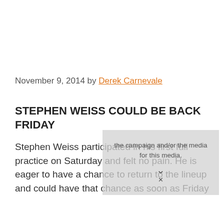November 9, 2014 by Derek Carnevale
STEPHEN WEISS COULD BE BACK FRIDAY
Stephen Weiss participated in his first full practice on Saturday and felt no pain. He is eager to have a chance to return to the lineup and could have that chance as soon as Friday